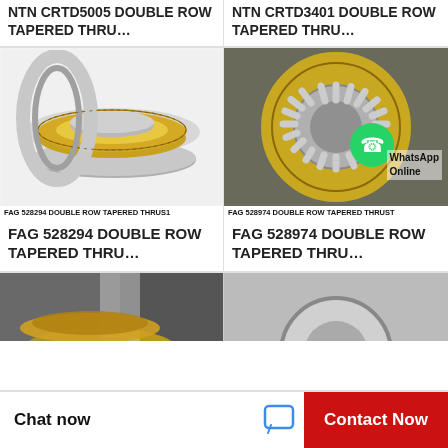NTN CRTD5005 DOUBLE ROW TAPERED THRU…
NTN CRTD3401 DOUBLE ROW TAPERED THRU…
[Figure (photo): FAG 528294 double row tapered thrust bearing, gold/silver metallic disc rings shown from angle]
FAG 528294 DOUBLE ROW TAPERED THRUS1
FAG 528294 DOUBLE ROW TAPERED THRU…
[Figure (photo): FAG 528974 double row tapered thrust bearing close-up, gold cage with rollers, WhatsApp Online overlay]
FAG 528974 DOUBLE ROW TAPERED THRUST
FAG 528974 DOUBLE ROW TAPERED THRU…
[Figure (photo): Partial photo of bearing at bottom left]
[Figure (photo): Partial photo of bearing at bottom right]
Chat now
Contact Now